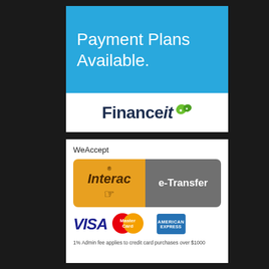[Figure (infographic): Payment Plans Available banner with Financeit logo on white and blue card]
[Figure (infographic): We Accept payment methods card showing Interac e-Transfer, VISA, MasterCard, American Express logos with admin fee footnote]